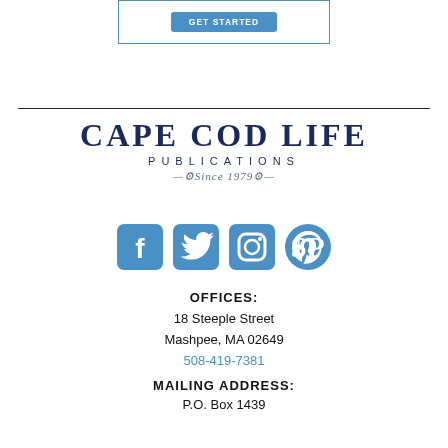[Figure (other): Blue 'GET STARTED' button inside a bordered box]
[Figure (logo): Cape Cod Life Publications logo — bold serif 'CAPE COD LIFE' with 'PUBLICATIONS' in spaced caps and 'Since 1979' in italic script with decorative flourishes]
[Figure (other): Four social media icons in blue: Facebook, Twitter, Instagram, Pinterest]
OFFICES:
18 Steeple Street
Mashpee, MA 02649
508-419-7381
MAILING ADDRESS:
P.O. Box 1439